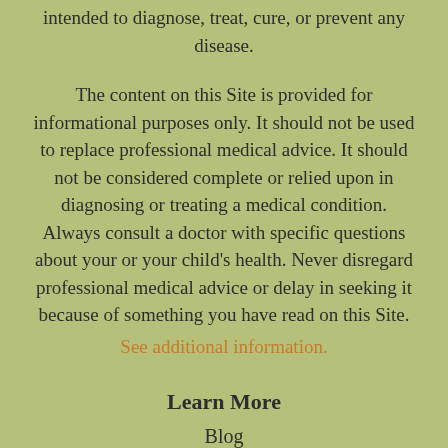intended to diagnose, treat, cure, or prevent any disease.
The content on this Site is provided for informational purposes only. It should not be used to replace professional medical advice. It should not be considered complete or relied upon in diagnosing or treating a medical condition. Always consult a doctor with specific questions about your or your child's health. Never disregard professional medical advice or delay in seeking it because of something you have read on this Site.
See additional information.
Learn More
Blog
Subscribe
Wellness Center
Contributors